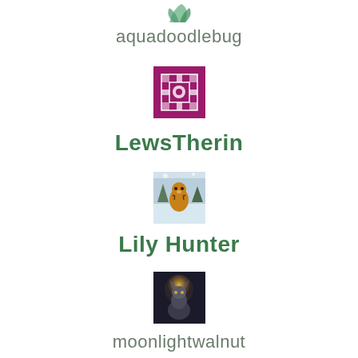[Figure (illustration): Small green leaf/plant icon avatar at top center]
aquadoodlebug
[Figure (illustration): Purple geometric/quilt pattern square avatar]
LewsTherin
[Figure (photo): Tiger in snowy scene avatar]
Lily Hunter
[Figure (illustration): Wolf/dog figure with glowing light avatar]
moonlightwalnut